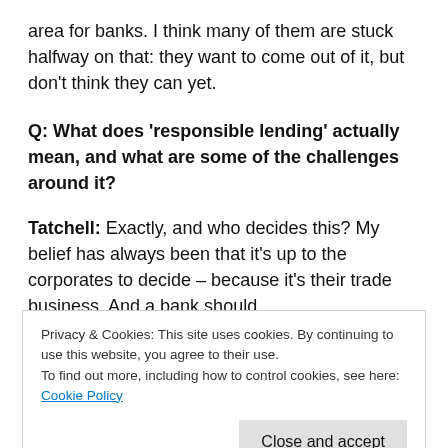area for banks. I think many of them are stuck halfway on that: they want to come out of it, but don't think they can yet.
Q: What does 'responsible lending' actually mean, and what are some of the challenges around it?
Tatchell: Exactly, and who decides this? My belief has always been that it's up to the corporates to decide – because it's their trade business. And a bank should
Privacy & Cookies: This site uses cookies. By continuing to use this website, you agree to their use.
To find out more, including how to control cookies, see here: Cookie Policy
Close and accept